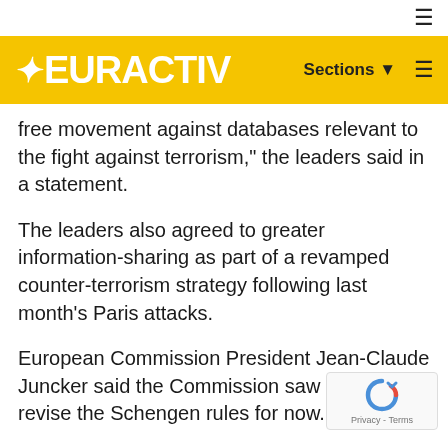EURACTIV
free movement against databases relevant to the fight against terrorism," the leaders said in a statement.
The leaders also agreed to greater information-sharing as part of a revamped counter-terrorism strategy following last month's Paris attacks.
European Commission President Jean-Claude Juncker said the Commission saw no need to revise the Schengen rules for now.
EU governments want to prevent Europeans going to fight with Islamic State militants in Syria and Iraq, fearing that they could carry out attacks on their return to Europe.